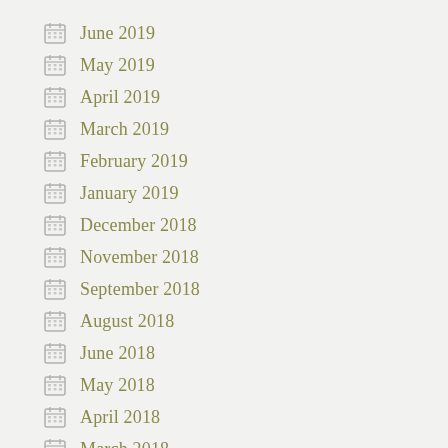June 2019
May 2019
April 2019
March 2019
February 2019
January 2019
December 2018
November 2018
September 2018
August 2018
June 2018
May 2018
April 2018
March 2018